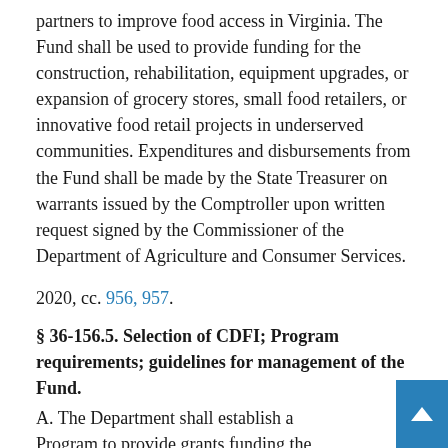partners to improve food access in Virginia. The Fund shall be used to provide funding for the construction, rehabilitation, equipment upgrades, or expansion of grocery stores, small food retailers, or innovative food retail projects in underserved communities. Expenditures and disbursements from the Fund shall be made by the State Treasurer on warrants issued by the Comptroller upon written request signed by the Commissioner of the Department of Agriculture and Consumer Services.
2020, cc. 956, 957.
§ 36-156.5. Selection of CDFI; Program requirements; guidelines for management of the Fund.
A. The Department shall establish a Program to provide grants funding the construction, rehabilitation, equipment upgrades, or expansion of grocery stores, small food retailers, or innovative food retail projects in underserved communities. The Department shall select